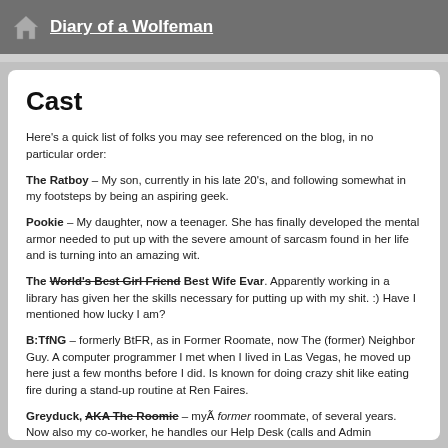Diary of a Wolfeman
Cast
Here's a quick list of folks you may see referenced on the blog, in no particular order:
The Ratboy – My son, currently in his late 20's, and following somewhat in my footsteps by being an aspiring geek.
Pookie – My daughter, now a teenager. She has finally developed the mental armor needed to put up with the severe amount of sarcasm found in her life and is turning into an amazing wit.
The World's Best Girl Friend Best Wife Evar. Apparently working in a library has given her the skills necessary for putting up with my shit. :) Have I mentioned how lucky I am?
B:TfNG – formerly BtFR, as in Former Roomate, now The (former) Neighbor Guy. A computer programmer I met when I lived in Las Vegas, he moved up here just a few months before I did. Is known for doing crazy shit like eating fire during a stand-up routine at Ren Faires.
Greyduck, AKA The Roomie – myÃ former roommate, of several years. Now also my co-worker, he handles our Help Desk (calls and Admin